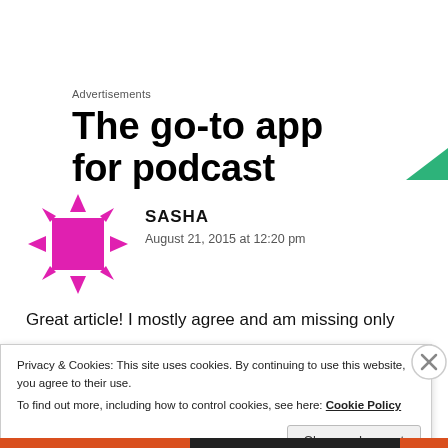Advertisements
The go-to app for podcast
[Figure (illustration): Magenta/pink spiky avatar icon for user SASHA]
SASHA
August 21, 2015 at 12:20 pm
Great article! I mostly agree and am missing only
Privacy & Cookies: This site uses cookies. By continuing to use this website, you agree to their use.
To find out more, including how to control cookies, see here: Cookie Policy
Close and accept